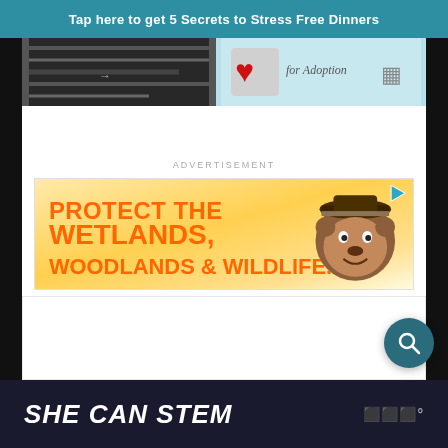Tap here to get 5 Secrets to Stress Free Dinners
[Figure (screenshot): Partial image strip showing two images side by side: left is a dark photo, right shows a logo with red heart and text 'for Adoption' on a light blue background]
ADVERTISEMENT
[Figure (photo): Advertisement banner: PROTECT THE WETLANDS, WOODLANDS & WILDLIFE. with Smokey Bear mascot image on yellow/orange background]
SHE CAN STEM